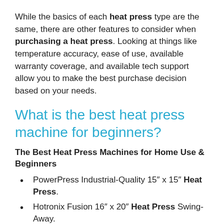While the basics of each heat press type are the same, there are other features to consider when purchasing a heat press. Looking at things like temperature accuracy, ease of use, available warranty coverage, and available tech support allow you to make the best purchase decision based on your needs.
What is the best heat press machine for beginners?
The Best Heat Press Machines for Home Use & Beginners
PowerPress Industrial-Quality 15″ x 15″ Heat Press.
Hotronix Fusion 16″ x 20″ Heat Press Swing-Away.